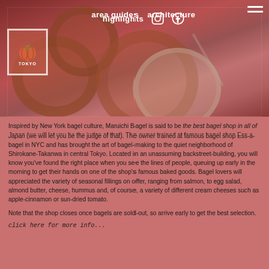area guides  architecture  highlights
[Figure (photo): Photo of bagels and a bowl of cream cheese dip with a spoon, overlaid with a reddish-pink color wash. A Tokyo logo/stamp is visible in the top left.]
Inspired by New York bagel culture, Maruichi Bagel is said to be the best bagel shop in all of Japan (we will let you be the judge of that). The owner trained at famous bagel shop Ess-a-bagel in NYC and has brought the art of bagel-making to the quiet neighborhood of Shirokane-Takanwa in central Tokyo. Located in an unassuming backstreet-building, you will know you've found the right place when you see the lines of people, queuing up early in the morning to get their hands on one of the shop's famous baked goods. Bagel lovers will appreciated the variety of seasonal fillings on offer, ranging from salmon, to egg salad, almond butter, cheese, hummus and, of course, a variety of different cream cheeses such as apple-cinnamon or sun-dried tomato.
Note that the shop closes once bagels are sold-out, so arrive early to get the best selection.
click here for more info...